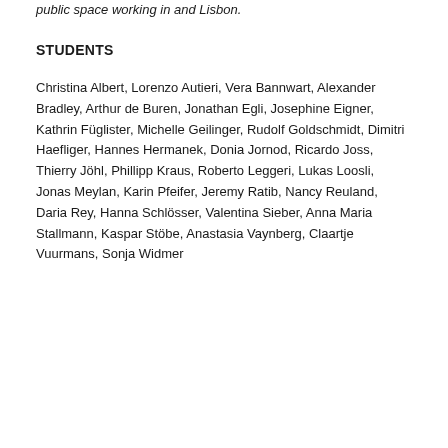public space working in and Lisbon.
STUDENTS
Christina Albert, Lorenzo Autieri, Vera Bannwart, Alexander Bradley, Arthur de Buren, Jonathan Egli, Josephine Eigner, Kathrin Füglister, Michelle Geilinger, Rudolf Goldschmidt, Dimitri Haefliger, Hannes Hermanek, Donia Jornod, Ricardo Joss, Thierry Jöhl, Phillipp Kraus, Roberto Leggeri, Lukas Loosli, Jonas Meylan, Karin Pfeifer, Jeremy Ratib, Nancy Reuland, Daria Rey, Hanna Schlösser, Valentina Sieber, Anna Maria Stallmann, Kaspar Stöbe, Anastasia Vaynberg, Claartje Vuurmans, Sonja Widmer